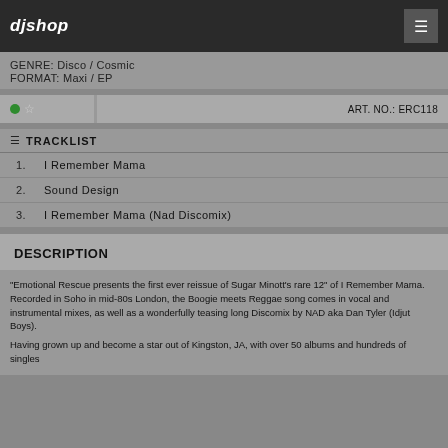djshop
GENRE: Disco / Cosmic
FORMAT: Maxi / EP
ART. NO.: ERC118
TRACKLIST
1. I Remember Mama
2. Sound Design
3. I Remember Mama (Nad Discomix)
DESCRIPTION
"Emotional Rescue presents the first ever reissue of Sugar Minott's rare 12" of I Remember Mama. Recorded in Soho in mid-80s London, the Boogie meets Reggae song comes in vocal and instrumental mixes, as well as a wonderfully teasing long Discomix by NAD aka Dan Tyler (Idjut Boys).
Having grown up and become a star out of Kingston, JA, with over 50 albums and hundreds of singles